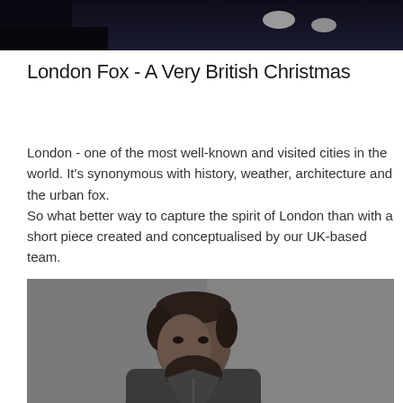[Figure (photo): Dark moody photograph, appears to show a dimly lit scene with light reflections, possibly a stage or indoor space]
London Fox - A Very British Christmas
London - one of the most well-known and visited cities in the world. It's synonymous with history, weather, architecture and the urban fox.
So what better way to capture the spirit of London than with a short piece created and conceptualised by our UK-based team.
[Figure (photo): Black and white portrait photograph of a bearded man wearing a denim shirt, looking upward, against a grey background]